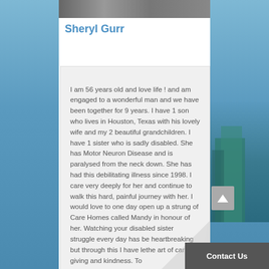[Figure (photo): Partial photo strip at top of white content area showing people]
Sheryl Gurr
I am 56 years old and love life ! and am engaged to a wonderful man and we have been together for 9 years. I have 1 son who lives in Houston, Texas with his lovely wife and my 2 beautiful grandchildren. I have 1 sister who is sadly disabled. She has Motor Neuron Disease and is paralysed from the neck down. She has had this debilitating illness since 1998. I care very deeply for her and continue to walk this hard, painful journey with her. I would love to one day open up a strung of Care Homes called Mandy in honour of her. Watching your disabled sister struggle every day has been heartbreaking but through this I have learned the art of caring, giving and kindness. To...